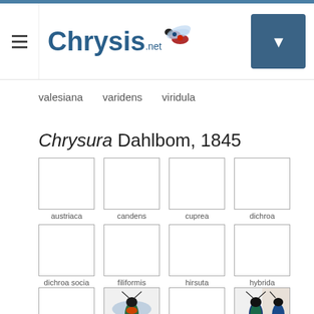Chrysis.net
valesiana   varidens   viridula
Chrysura Dahlbom, 1845
[Figure (photo): Grid of species thumbnails for Chrysura: austriaca, candens, cuprea, dichroa, dichroa socia, filiformis, hirsuta, hybrida, and three more partially visible rows with insect photos]
austriaca
candens
cuprea
dichroa
dichroa socia
filiformis
hirsuta
hybrida